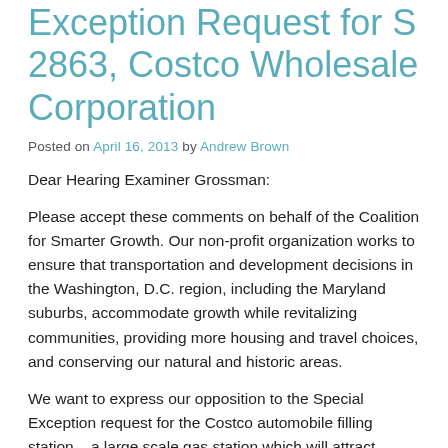Exception Request for S 2863, Costco Wholesale Corporation
Posted on April 16, 2013 by Andrew Brown
Dear Hearing Examiner Grossman:
Please accept these comments on behalf of the Coalition for Smarter Growth. Our non-profit organization works to ensure that transportation and development decisions in the Washington, D.C. region, including the Maryland suburbs, accommodate growth while revitalizing communities, providing more housing and travel choices, and conserving our natural and historic areas.
We want to express our opposition to the Special Exception request for the Costco automobile filling station – a large scale gas station which will attract